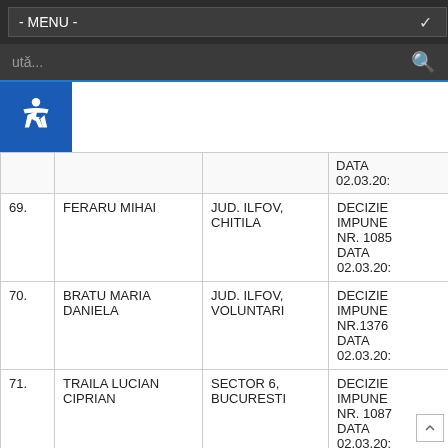- MENU -
| Nr. | Nume | Localitate | Act |
| --- | --- | --- | --- |
|  |  |  | DATA 02.03.20: |
| 69. | FERARU MIHAI | JUD. ILFOV, CHITILA | DECIZIE IMPUNE NR. 1085 DATA 02.03.20: |
| 70. | BRATU MARIA DANIELA | JUD. ILFOV, VOLUNTARI | DECIZIE IMPUNE NR.1376 DATA 02.03.20: |
| 71. | TRAILA LUCIAN CIPRIAN | SECTOR 6, BUCURESTI | DECIZIE IMPUNE NR. 1087 DATA 02.03.20: |